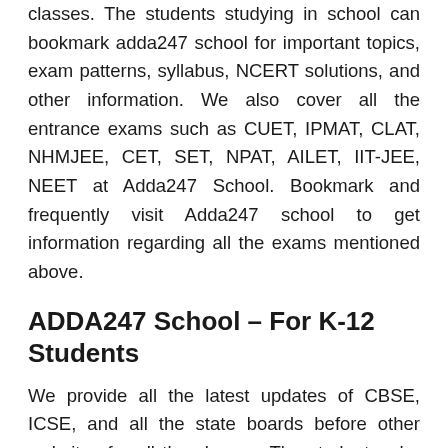classes. The students studying in school can bookmark adda247 school for important topics, exam patterns, syllabus, NCERT solutions, and other information. We also cover all the entrance exams such as CUET, IPMAT, CLAT, NHMJEE, CET, SET, NPAT, AILET, IIT-JEE, NEET at Adda247 School. Bookmark and frequently visit Adda247 school to get information regarding all the exams mentioned above.
ADDA247 School – For K-12 Students
We provide all the latest updates of CBSE, ICSE, and all the state boards before other websites for all the classes. The students who want to get live updates of their board exam date, result, admit card, date sheet, and other educational news must bookmark the Adda247 school. All the information given here is